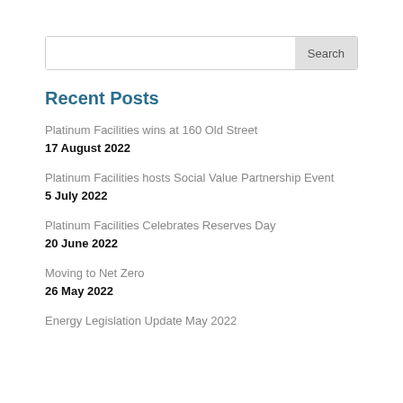Search
Recent Posts
Platinum Facilities wins at 160 Old Street
17 August 2022
Platinum Facilities hosts Social Value Partnership Event
5 July 2022
Platinum Facilities Celebrates Reserves Day
20 June 2022
Moving to Net Zero
26 May 2022
Energy Legislation Update May 2022